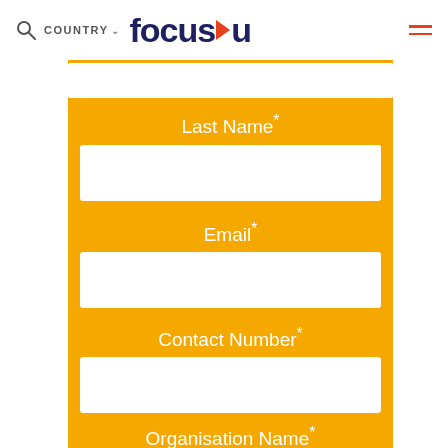focus u — COUNTRY navigation header
Last Name*
Email*
Contact Number*
Organisation Name*